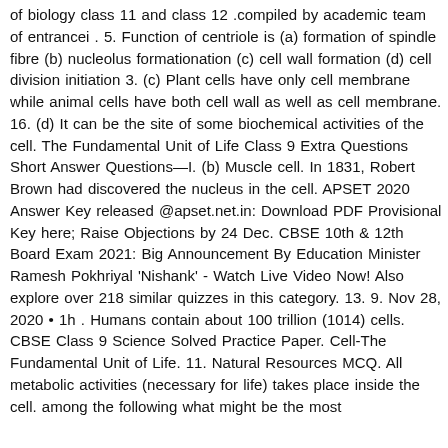of biology class 11 and class 12 .compiled by academic team of entrancei . 5. Function of centriole is (a) formation of spindle fibre (b) nucleolus formationation (c) cell wall formation (d) cell division initiation 3. (c) Plant cells have only cell membrane while animal cells have both cell wall as well as cell membrane. 16. (d) It can be the site of some biochemical activities of the cell. The Fundamental Unit of Life Class 9 Extra Questions Short Answer Questions—I. (b) Muscle cell. In 1831, Robert Brown had discovered the nucleus in the cell. APSET 2020 Answer Key released @apset.net.in: Download PDF Provisional Key here; Raise Objections by 24 Dec. CBSE 10th & 12th Board Exam 2021: Big Announcement By Education Minister Ramesh Pokhriyal 'Nishank' - Watch Live Video Now! Also explore over 218 similar quizzes in this category. 13. 9. Nov 28, 2020 • 1h . Humans contain about 100 trillion (1014) cells. CBSE Class 9 Science Solved Practice Paper. Cell-The Fundamental Unit of Life. 11. Natural Resources MCQ. All metabolic activities (necessary for life) takes place inside the cell. among the following what might be the most